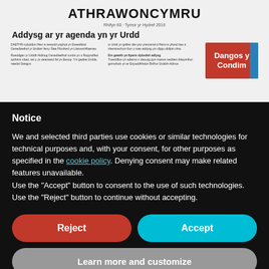[Figure (screenshot): Screenshot of Athrawon Cymru website showing article 'Addysg ar yr agenda yn yr Urdd' with Welsh text columns and a red sign image showing 'Dangos y Condim']
Notice
We and selected third parties use cookies or similar technologies for technical purposes and, with your consent, for other purposes as specified in the cookie policy. Denying consent may make related features unavailable.
Use the “Accept” button to consent to the use of such technologies. Use the “Reject” button to continue without accepting.
Reject
Accept
Learn more and customize